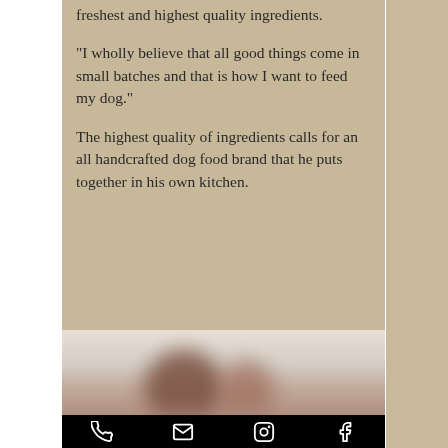freshest and highest quality ingredients.
"I wholly believe that all good things come in small batches and that is how I want to feed my dog."
The highest quality of ingredients calls for an all handcrafted dog food brand that he puts together in his own kitchen.
[Figure (photo): Blurred photo of a dog, showing warm brown tones against a light background]
Phone | Email | Instagram | Facebook icons